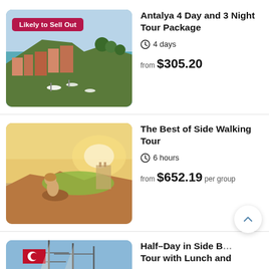[Figure (photo): Aerial view of Antalya harbor with boats, turquoise water, and colorful buildings on cliff. Badge overlay: 'Likely to Sell Out']
Antalya 4 Day and 3 Night Tour Package
4 days
from $305.20
[Figure (photo): Woman sitting on rocks at sunset with ancient ruins and green landscape in background, Side Turkey]
The Best of Side Walking Tour
6 hours
from $652.19 per group
[Figure (photo): Tall ship masts with Turkish flag against blue sky, partially visible]
Half-Day in Side B... Tour with Lunch and